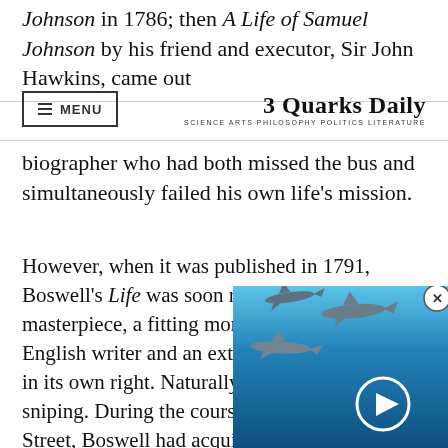Johnson in 1786; then A Life of Samuel Johnson by his friend and executor, Sir John Hawkins, came out
3 Quarks Daily — SCIENCE ARTS PHILOSOPHY POLITICS LITERATURE
biographer who had both missed the bus and simultaneously failed his own life's mission.
However, when it was published in 1791, Boswell's Life was soon recognised as a masterpiece, a fitting monument to a great English writer and an extraordinary work of art in its own right. Naturally, there was the usual sniping. During the course of a life in Grub Street, Boswell had acquired many enemies. The main objections to his work came under two heads: first, as the work of an amanuensis rather than a conventional biography; second, by that standard, it fails – Boswell o
[Figure (screenshot): Video overlay showing sharks swimming underwater with a play button, and a close/X button in top right corner]